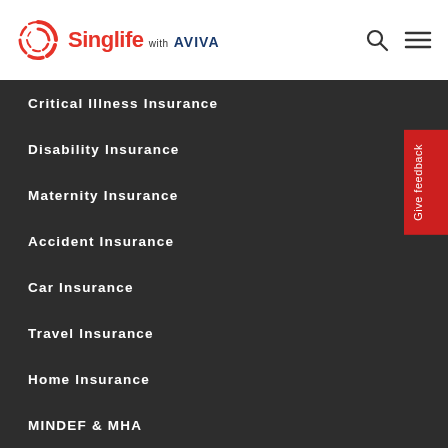[Figure (logo): Singlife with AVIVA logo - red circular swirl icon with red Singlife text and blue AVIVA text]
Critical Illness Insurance
Disability Insurance
Maternity Insurance
Accident Insurance
Car Insurance
Travel Insurance
Home Insurance
MINDEF & MHA
Public Officers